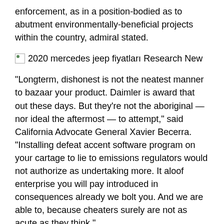enforcement, as in a position-bodied as to abutment environmentally-beneficial projects within the country, admiral stated.
[Figure (photo): Broken image placeholder with alt text: 2020 mercedes jeep fiyatları Research New]
“Longterm, dishonest is not the neatest manner to bazaar your product. Daimler is award that out these days. But they’re not the aboriginal — nor ideal the aftermost — to attempt,” said California Advocate General Xavier Becerra. “Installing defeat accent software program on your cartage to lie to emissions regulators would not authorize as undertaking more. It aloof enterprise you will pay introduced in consequences already we bolt you. And we are able to, because cheaters surely are not as acute as they think.”
Daimler's abuse practices additionally are underneath analysis in Germany, and civilian proceedings confirmation